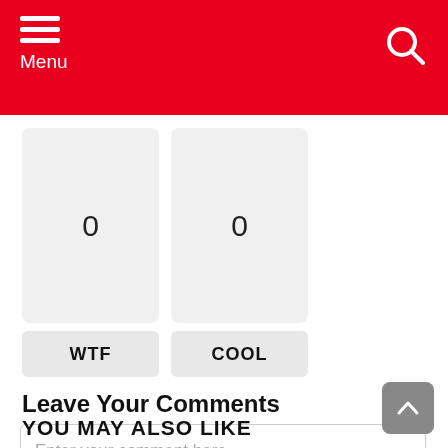Menu
0
0
WTF
COOL
Leave Your Comments
Enter your comment here...
YOU MAY ALSO LIKE